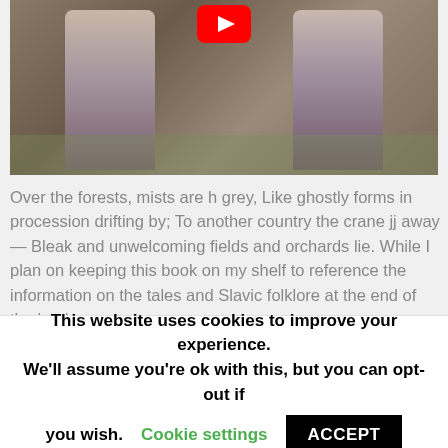[Figure (photo): Video thumbnail showing two figures in white/grey robes or veils standing outdoors, with a YouTube play button icon visible at the top center.]
Over the forests, mists are h grey, Like ghostly forms in procession drifting by; To another country the crane jj away— Bleak and unwelcoming fields and orchards lie. While I plan on keeping this book on my shelf to reference the information on the tales and Slavic folklore at the end of the book,
This website uses cookies to improve your experience. We'll assume you're ok with this, but you can opt-out if you wish. Cookie settings ACCEPT